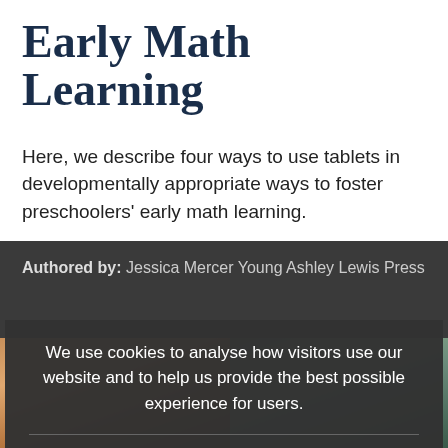Early Math Learning
Here, we describe four ways to use tablets in developmentally appropriate ways to foster preschoolers' early math learning.
Authored by: Jessica Mercer Young Ashley Lewis Press
We use cookies to analyse how visitors use our website and to help us provide the best possible experience for users.
Click Accept below if you agree to allow cookies from NAEYC. Otherwise, click Decline.
[Figure (photo): Photo strip of children at the bottom of the page, partially obscured by cookie overlay]